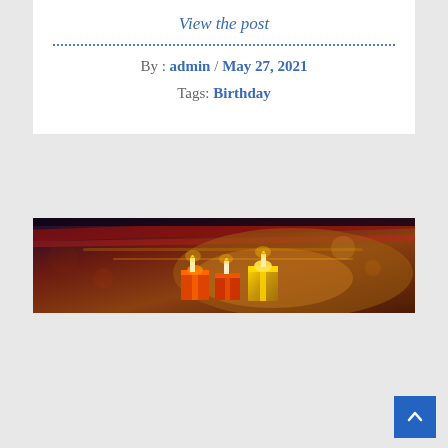View the post
By : admin / May 27, 2021
Tags: Birthday
[Figure (photo): Birthday-themed photo with candles and warm golden/orange tones on a dark background with motion blur effect]